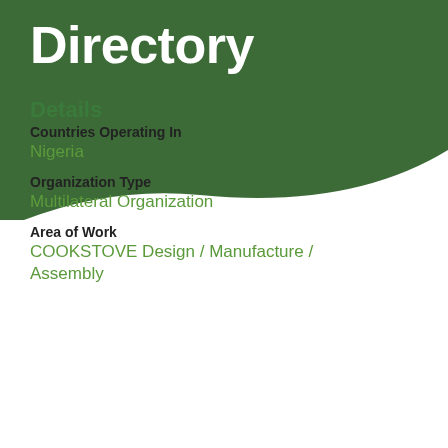Directory
Details
Countries Operating In
Nigeria
Organization Type
Multilateral Organization
Area of Work
COOKSTOVE Design / Manufacture / Assembly